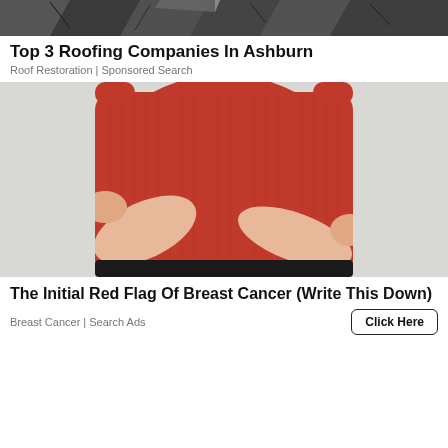[Figure (photo): Damaged roof shingles, dark gray/black, cracked and peeling]
Top 3 Roofing Companies In Ashburn
Roof Restoration | Sponsored Search
[Figure (photo): Woman in red sleeveless top holding her chest/breast area with both arms crossed, white background]
The Initial Red Flag Of Breast Cancer (Write This Down)
Breast Cancer | Search Ads
Click Here